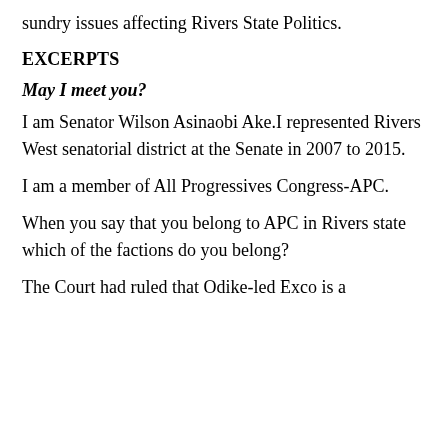sundry issues affecting Rivers State Politics.
EXCERPTS
May I meet you?
I am Senator Wilson Asinaobi Ake.I represented Rivers West senatorial district at the Senate in 2007 to 2015.
I am a member of All Progressives Congress-APC.
When you say that you belong to APC in Rivers state which of the factions do you belong?
The Court had ruled that Odike-led Exco is a